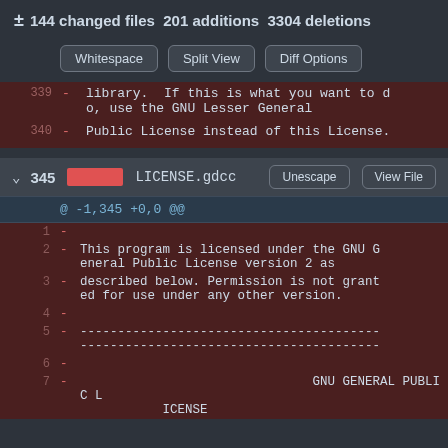± 144 changed files  201 additions  3304 deletions
Whitespace  Split View  Diff Options
339   - library.  If this is what you want to do, use the GNU Lesser General
340   - Public License instead of this License.
∨ 345  LICENSE.gdcc  Unescape  View File
@ -1,345 +0,0 @@
1  -
2  - This program is licensed under the GNU General Public License version 2 as
3  - described below. Permission is not granted for use under any other version.
4  -
5  - --------------------------------------------------------------------------------
6  -
7  -                                        GNU GENERAL PUBLIC LICENSE
     LICENSE